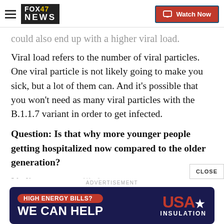FOX 47 NEWS — Watch Now
could also end up with a higher viral load.
Viral load refers to the number of viral particles. One viral particle is not likely going to make you sick, but a lot of them can. And it's possible that you won't need as many viral particles with the B.1.1.7 variant in order to get infected.
Question: Is that why more younger people getting hospitalized now compared to the older generation?
I beli... means... likely
[Figure (screenshot): USA Insulation advertisement banner: 'HIGH ENERGY BILLS? WE CAN HELP — USA INSULATION']